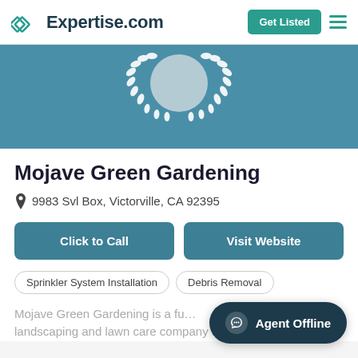Expertise.com — Get Listed
[Figure (illustration): Expertise.com award medallion with laurel wreath on teal/blue-green banner background, circular badge placeholder in center]
Mojave Green Gardening
9983 Svl Box, Victorville, CA 92395
Click to Call
Visit Website
Sprinkler System Installation
Debris Removal
Mojave Green Gardening is a full-service landscaping and lawn care company that serves
Agent Offline